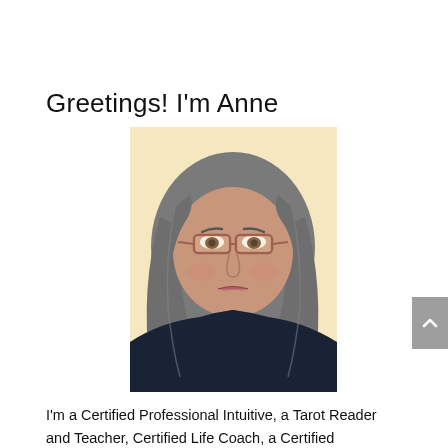Greetings! I'm Anne
[Figure (photo): Portrait photo of Anne, a middle-aged woman with long grey-streaked hair, wearing glasses with reddish frames and a dark navy top, posed against a pale yellow background.]
I'm a Certified Professional Intuitive, a Tarot Reader and Teacher, Certified Life Coach, a Certified Retirement Coach. I love to travel and am excited to